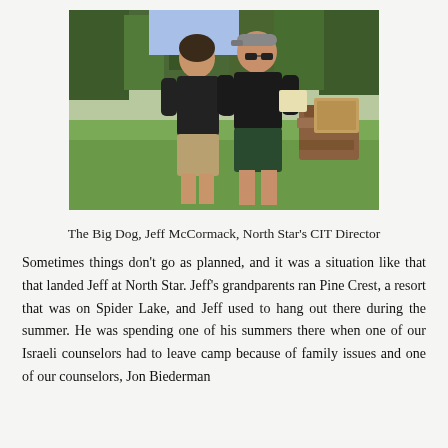[Figure (photo): Two men in black t-shirts standing on a grassy field outdoors, trees in background, pile of wood visible behind them. One man faces away from camera wearing tan shorts; the other faces the camera wearing sunglasses and dark green shorts, holding papers.]
The Big Dog, Jeff McCormack, North Star's CIT Director
Sometimes things don't go as planned, and it was a situation like that that landed Jeff at North Star. Jeff's grandparents ran Pine Crest, a resort that was on Spider Lake, and Jeff used to hang out there during the summer. He was spending one of his summers there when one of our Israeli counselors had to leave camp because of family issues and one of our counselors, Jon Biederman